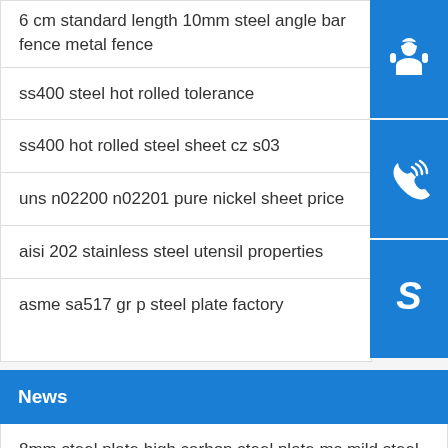6 cm standard length 10mm steel angle bar fence metal fence
ss400 steel hot rolled tolerance
ss400 hot rolled steel sheet cz s03
uns n02200 n02201 pure nickel sheet price
aisi 202 stainless steel utensil properties
asme sa517 gr p steel plate factory
[Figure (illustration): Customer service headset icon on blue background]
[Figure (illustration): Phone/call icon on blue background]
[Figure (illustration): Skype icon on blue background]
News
8mm steel plate high carbon steel plate ms mild steel suppl